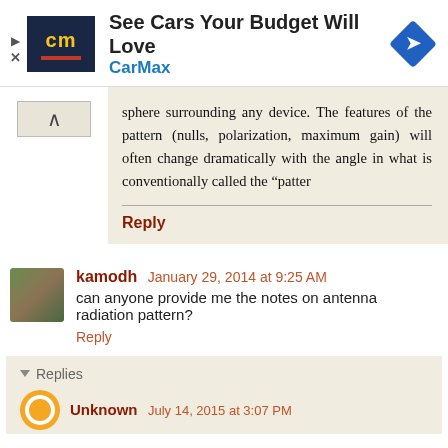[Figure (screenshot): CarMax advertisement banner with logo, text 'See Cars Your Budget Will Love', 'CarMax', and a blue diamond arrow icon]
sphere surrounding any device. The features of the pattern (nulls, polarization, maximum gain) will often change dramatically with the angle in what is conventionally called the “patter
Reply
kamodh January 29, 2014 at 9:25 AM
can anyone provide me the notes on antenna radiation pattern?
Reply
Replies
Unknown July 14, 2015 at 3:07 PM